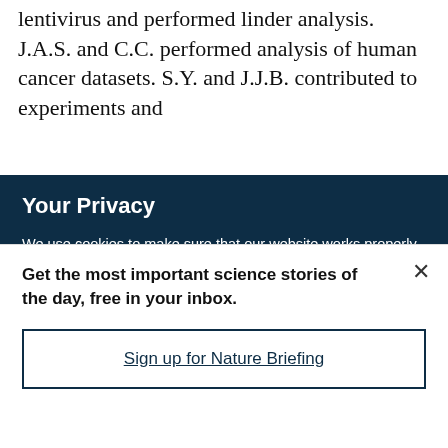lentivirus and performed linder analysis. J.A.S. and C.C. performed analysis of human cancer datasets. S.Y. and J.J.B. contributed to experiments and
Your Privacy
We use cookies to make sure that our website works properly, as well as some 'optional' cookies to personalise content and advertising, provide social media features and analyse how people use our site. By accepting some or all optional cookies you give consent to the processing of your personal data, including transfer to third parties, some in countries outside of the European Economic Area that do not offer the same data protection standards as the country where you live. You can decide which optional cookies to accept by clicking on 'Manage Settings', where you can
Get the most important science stories of the day, free in your inbox.
Sign up for Nature Briefing